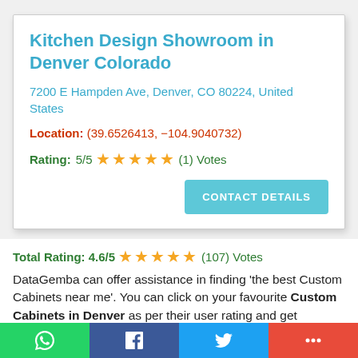Kitchen Design Showroom in Denver Colorado
7200 E Hampden Ave, Denver, CO 80224, United States
Location: (39.6526413, −104.9040732)
Rating: 5/5 ★★★★★ (1) Votes
CONTACT DETAILS
Total Rating: 4.6/5 ★★★★★ (107) Votes
DataGemba can offer assistance in finding 'the best Custom Cabinets near me'. You can click on your favourite Custom Cabinets in Denver as per their user rating and get Custom Cabinets contact details like